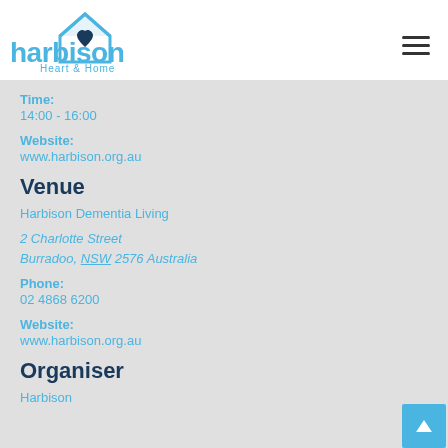[Figure (logo): Harbison Heart & Home logo with house icon and heart, light blue color]
Time:
14:00 - 16:00
Website:
www.harbison.org.au
Venue
Harbison Dementia Living
2 Charlotte Street
Burradoo, NSW 2576 Australia
Phone:
02 4868 6200
Website:
www.harbison.org.au
Organiser
Harbison